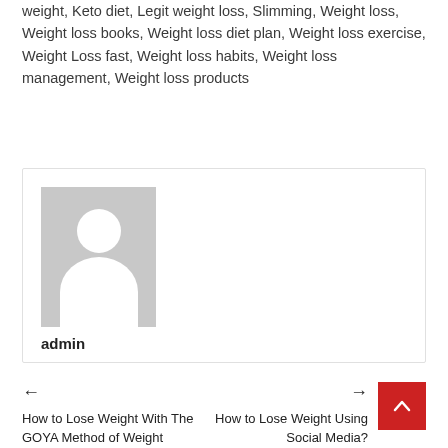weight, Keto diet, Legit weight loss, Slimming, Weight loss, Weight loss books, Weight loss diet plan, Weight loss exercise, Weight Loss fast, Weight loss habits, Weight loss management, Weight loss products
[Figure (illustration): Author avatar placeholder - grey rectangle with white silhouette of a person (head and shoulders)]
admin
← How to Lose Weight With The GOYA Method of Weight Loss?
→ How to Lose Weight Using Social Media?